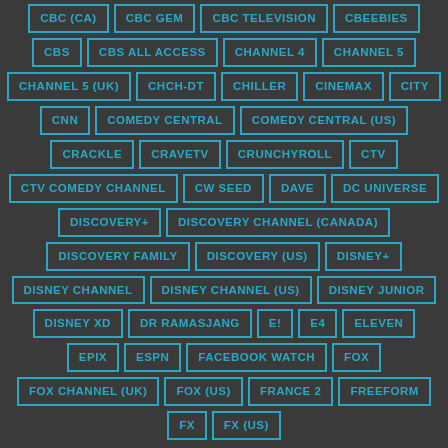CBC (CA)
CBC GEM
CBC TELEVISION
CBEEBIES
CBS
CBS ALL ACCESS
CHANNEL 4
CHANNEL 5
CHANNEL 5 (UK)
CHCH-DT
CHILLER
CINEMAX
CITY
CNN
COMEDY CENTRAL
COMEDY CENTRAL (US)
CRACKLE
CRAVETV
CRUNCHYROLL
CTV
CTV COMEDY CHANNEL
CW SEED
DAVE
DC UNIVERSE
DISCOVERY+
DISCOVERY CHANNEL (CANADA)
DISCOVERY FAMILY
DISCOVERY (US)
DISNEY+
DISNEY CHANNEL
DISNEY CHANNEL (US)
DISNEY JUNIOR
DISNEY XD
DR RAMASJANG
E!
E4
ELEVEN
EPIX
ESPN
FACEBOOK WATCH
FOX
FOX CHANNEL (UK)
FOX (US)
FRANCE 2
FREEFORM
FX
FX (US)